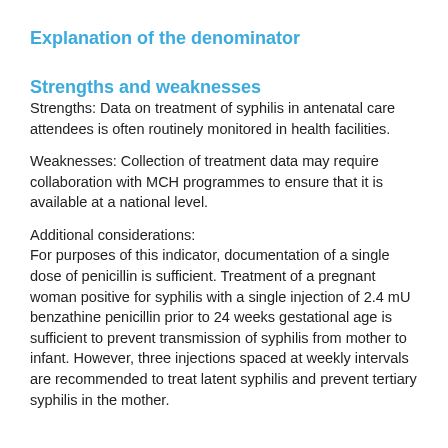Explanation of the denominator
Strengths and weaknesses
Strengths: Data on treatment of syphilis in antenatal care attendees is often routinely monitored in health facilities.
Weaknesses: Collection of treatment data may require collaboration with MCH programmes to ensure that it is available at a national level.
Additional considerations:
For purposes of this indicator, documentation of a single dose of penicillin is sufficient. Treatment of a pregnant woman positive for syphilis with a single injection of 2.4 mU benzathine penicillin prior to 24 weeks gestational age is sufficient to prevent transmission of syphilis from mother to infant. However, three injections spaced at weekly intervals are recommended to treat latent syphilis and prevent tertiary syphilis in the mother.